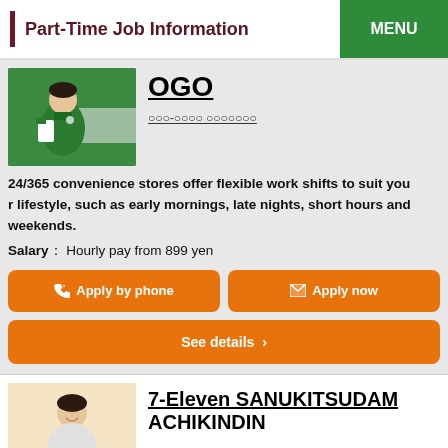Part-Time Job Information
[Figure (photo): Person in green convenience store uniform]
OGO
○○○-○○○○ ○○○○○○○
24/365 convenience stores offer flexible work shifts to suit your lifestyle, such as early mornings, late nights, short hours and weekends.
Salary： Hourly pay from 899 yen
Apply by phone
Apply now
See details ›
[Figure (photo): Person smiling, second job listing photo]
7-Eleven SANUKITSUDAM ACHIKINDIN